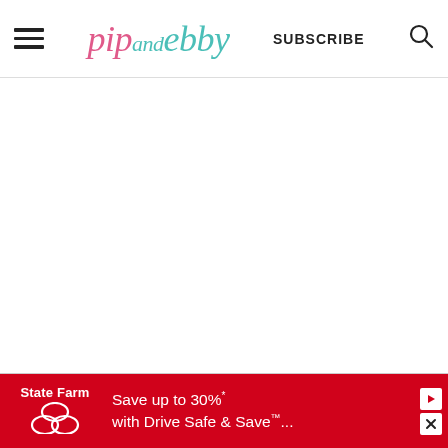pip and ebby — SUBSCRIBE
[Figure (other): Large blank white content area]
[Figure (other): State Farm advertisement banner: Save up to 30%* with Drive Safe & Save™...]